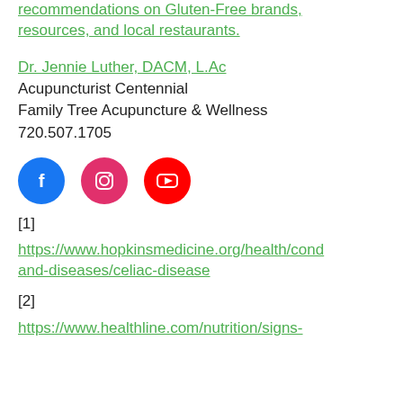recommendations on Gluten-Free brands, resources, and local restaurants.
Dr. Jennie Luther, DACM, L.Ac
Acupuncturist Centennial
Family Tree Acupuncture & Wellness
720.507.1705
[Figure (other): Social media icons for Facebook, Instagram, and YouTube]
[1]
https://www.hopkinsmedicine.org/health/cond and-diseases/celiac-disease
[2]
https://www.healthline.com/nutrition/signs-